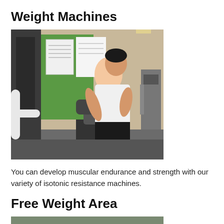Weight Machines
[Figure (photo): A young man using an arm curl weight machine in a gym with green walls and exercise equipment in the background.]
You can develop muscular endurance and strength with our variety of isotonic resistance machines.
Free Weight Area
[Figure (photo): Partial view of a person in the free weight area of a gym.]